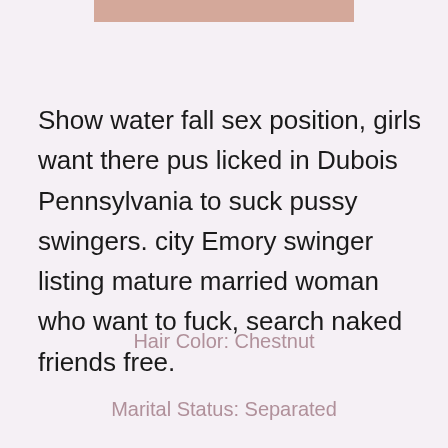[Figure (photo): Partial photo visible at top of page]
Show water fall sex position, girls want there pus licked in Dubois Pennsylvania to suck pussy swingers. city Emory swinger listing mature married woman who want to fuck, search naked friends free.
Hair Color: Chestnut
Marital Status: Separated